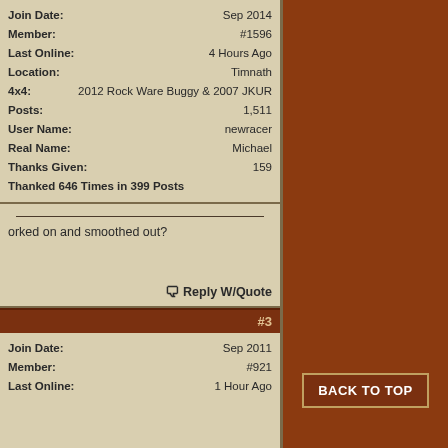Join Date: Sep 2014
Member: #1596
Last Online: 4 Hours Ago
Location: Timnath
4x4: 2012 Rock Ware Buggy & 2007 JKUR
Posts: 1,511
User Name: newracer
Real Name: Michael
Thanks Given: 159
Thanked 646 Times in 399 Posts
orked on and smoothed out?
Reply W/Quote
#3
Join Date: Sep 2011
Member: #921
Last Online: 1 Hour Ago
BACK TO TOP